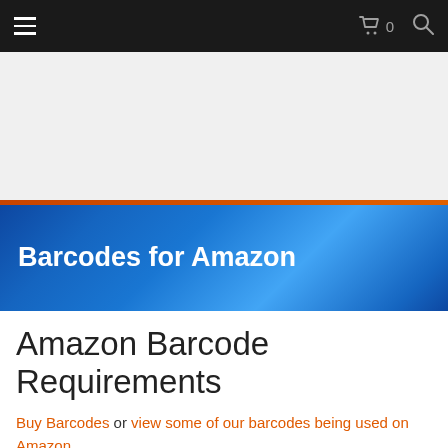Navigation bar with hamburger menu, cart (0), and search icon
[Figure (other): Advertisement banner (white/light gray background)]
Barcodes for Amazon
Amazon Barcode Requirements
Buy Barcodes or view some of our barcodes being used on Amazon
Amazon's policy for barcode numbers continues to change, as